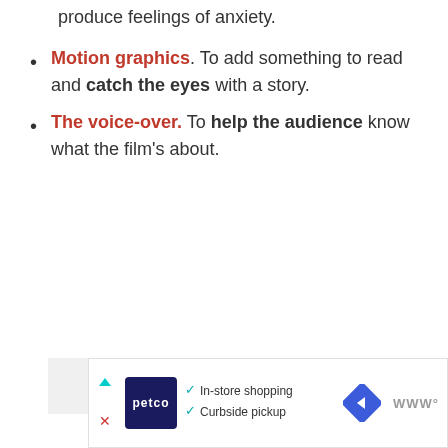produce feelings of anxiety.
Motion graphics. To add something to read and catch the eyes with a story.
The voice-over. To help the audience know what the film’s about.
[Figure (other): Gray placeholder box representing an image or media area]
[Figure (other): Advertisement bar: Petco logo, In-store shopping and Curbside pickup checkmarks, road sign icon, and brand icon]